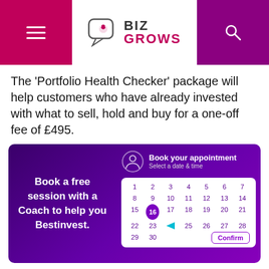BIZ GROWS
The ‘Portfolio Health Checker’ package will help customers who have already invested with what to sell, hold and buy for a one-off fee of £495.
[Figure (screenshot): Promotional image for Bestinvest showing 'Book a free session with a Coach to help you Bestinvest.' alongside a calendar booking UI titled 'Book your appointment - Select a date & time' with date 16 selected and a Confirm button.]
Investment platform Bestinvest has launched two new advice packages to help its customers